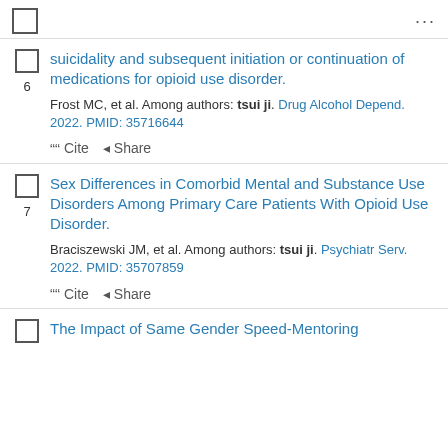...
6. suicidality and subsequent initiation or continuation of medications for opioid use disorder. Frost MC, et al. Among authors: tsui ji. Drug Alcohol Depend. 2022. PMID: 35716644
7. Sex Differences in Comorbid Mental and Substance Use Disorders Among Primary Care Patients With Opioid Use Disorder. Braciszewski JM, et al. Among authors: tsui ji. Psychiatr Serv. 2022. PMID: 35707859
The Impact of Same Gender Speed-Mentoring